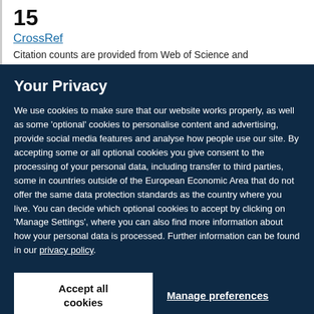15
CrossRef
Citation counts are provided from Web of Science and
Your Privacy
We use cookies to make sure that our website works properly, as well as some ‘optional’ cookies to personalise content and advertising, provide social media features and analyse how people use our site. By accepting some or all optional cookies you give consent to the processing of your personal data, including transfer to third parties, some in countries outside of the European Economic Area that do not offer the same data protection standards as the country where you live. You can decide which optional cookies to accept by clicking on ‘Manage Settings’, where you can also find more information about how your personal data is processed. Further information can be found in our privacy policy.
Accept all cookies
Manage preferences